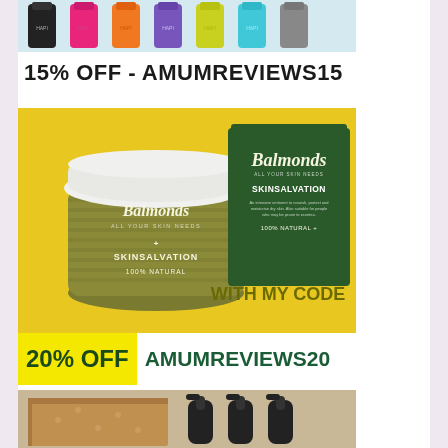[Figure (photo): Row of colorful cylindrical product bottles in various colors: black, pink/magenta, orange, purple, yellow/lime, teal/cyan, gray, on a light background]
15% OFF - AMUMREVIEWS15
[Figure (photo): Balmonds Skin Salvation product jar (olive/green colored salve in glass jar with white lid) next to green branded box, on yellow background. Text: Balmonds ALL YOUR SKIN NEEDS, SKINSALVATION, 100% NATURAL. WITH MY CODE overlay text in olive/dark yellow.]
20% OFF AMUMREVIEWS20
[Figure (photo): Brown cardboard box with black pump/spray bottle dispensers visible, partially cropped at bottom of page]